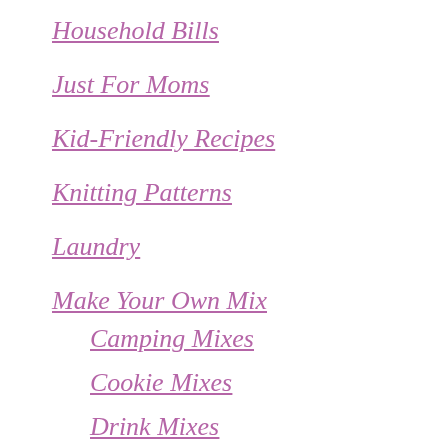Household Bills
Just For Moms
Kid-Friendly Recipes
Knitting Patterns
Laundry
Make Your Own Mix
Camping Mixes
Cookie Mixes
Drink Mixes
Rice Mixes
Soup Mixes
Spice Jar Mixes